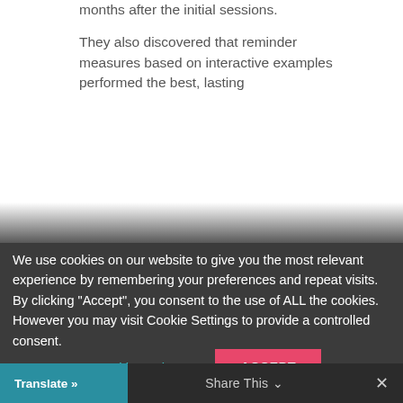months after the initial sessions.
They also discovered that reminder measures based on interactive examples performed the best, lasting
We use cookies on our website to give you the most relevant experience by remembering your preferences and repeat visits. By clicking “Accept”, you consent to the use of ALL the cookies. However you may visit Cookie Settings to provide a controlled consent.
Cookie settings
ACCEPT
Translate »
Share This ⌄
×